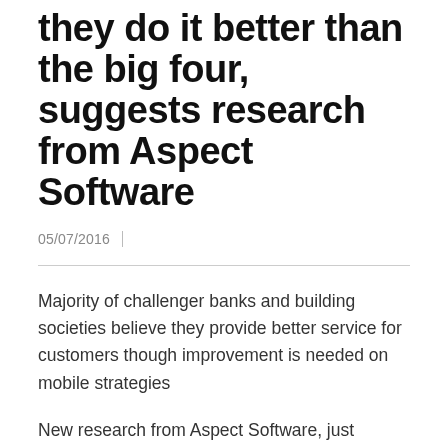they do it better than the big four, suggests research from Aspect Software
05/07/2016
Majority of challenger banks and building societies believe they provide better service for customers though improvement is needed on mobile strategies
New research from Aspect Software, just launched, has found that the vast majority of challenger banks and building societies believe that they are either at least as good, or better, than the big four (Barclays, HSBC, Lloyds and RBS) in providing good customer service and innovating new services. However, according to